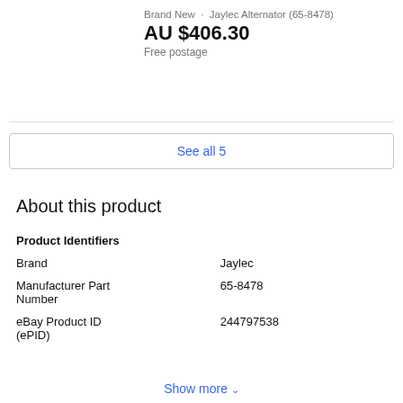Brand New · Jaylec Alternator (65-8478)
AU $406.30
Free postage
See all 5
About this product
|  |  |
| --- | --- |
| Product Identifiers |  |
| Brand | Jaylec |
| Manufacturer Part Number | 65-8478 |
| eBay Product ID (ePID) | 244797538 |
Show more ∨